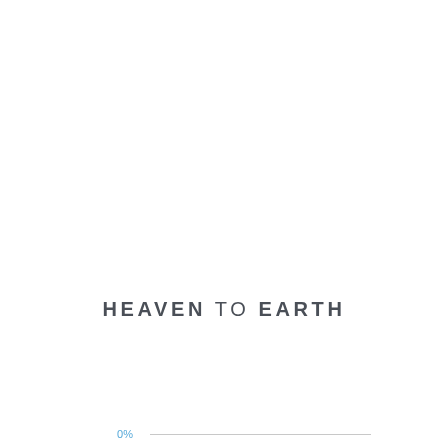[Figure (other): Horizontal axis line with 0% label on the left side, positioned in the upper-middle portion of the page]
HEAVEN TO EARTH